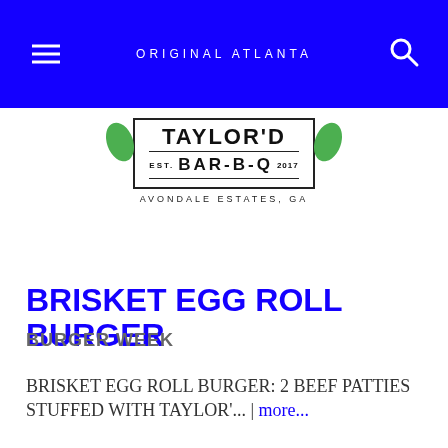ORIGINAL ATLANTA
[Figure (logo): Taylor'd Bar-B-Q logo with green leaf accents. EST. 2017. AVONDALE ESTATES, GA]
BRISKET EGG ROLL BURGER
BURGER WEEK
BRISKET EGG ROLL BURGER: 2 BEEF PATTIES STUFFED WITH TAYLOR'... | more...